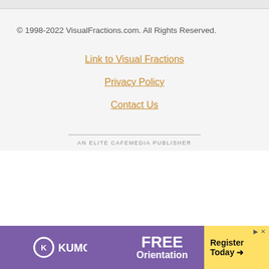© 1998-2022 VisualFractions.com. All Rights Reserved.
Link to Visual Fractions
Privacy Policy
Contact Us
AN ELITE CAFEMEDIA PUBLISHER
[Figure (other): Kumon FREE Orientation advertisement banner with purple and yellow background]